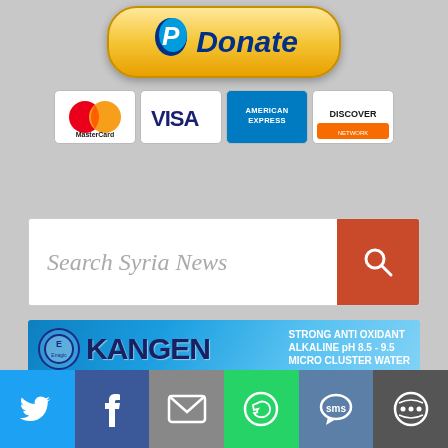[Figure (infographic): PayPal Donate button with MasterCard, VISA, American Express, and Discover card logos below it]
[Figure (screenshot): Search box with placeholder text 'Search Syria News' and an orange search button with magnifying glass icon]
[Figure (infographic): Kangen Miracle Water advertisement banner by Enagic. Text includes: STRONG ANTI OXIDANT, ALKALINE pH 8.5 - 9.5, MICRO CLUSTER WATER, www.enagic.com, ECO-FRIENDLY DAILY WATER, REVOLUTIONIZED YOUR LIFE WITH WATER, Leveluk 501 logo]
[Figure (infographic): Social media sharing bar with Twitter, Facebook, Email, WhatsApp, SMS, and other sharing icons in colored buttons]